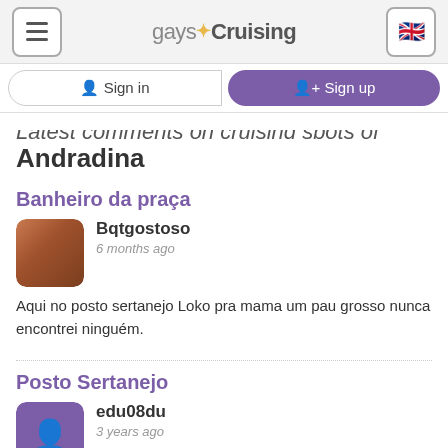gaysCruising — Sign in | Sign up
Latest comments on cruising spots of Andradina
Banheiro da praça
Bqtgostoso
6 months ago
Aqui no posto sertanejo Loko pra mama um pau grosso nunca encontrei ninguém.
Posto Sertanejo
edu08du
3 years ago
Qual o melhor horario